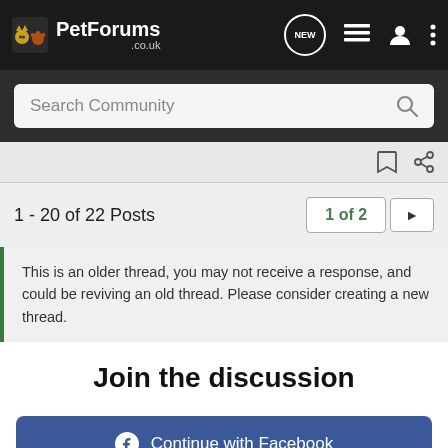PetForums .co.uk — navigation bar with NEW, list, user, and menu icons
Search Community
1 - 20 of 22 Posts
1 of 2
This is an older thread, you may not receive a response, and could be reviving an old thread. Please consider creating a new thread.
Join the discussion
Continue with Facebook
Continue with Google